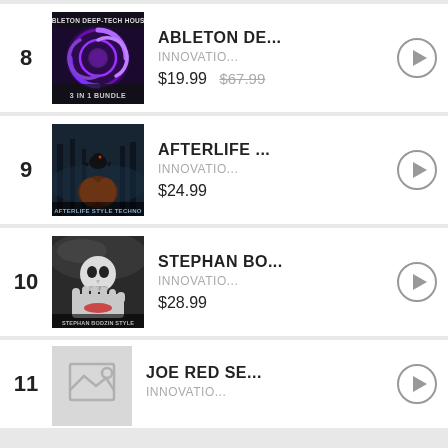8 | ABLETON DE... | INNOVATIO... | $19.99 $67.99
9 | AFTERLIFE ... | INNOVATIO... | $24.99
10 | STEPHAN BO... | INNOVATIO... | $28.99
11 | JOE RED SE... | INNOVATIO...